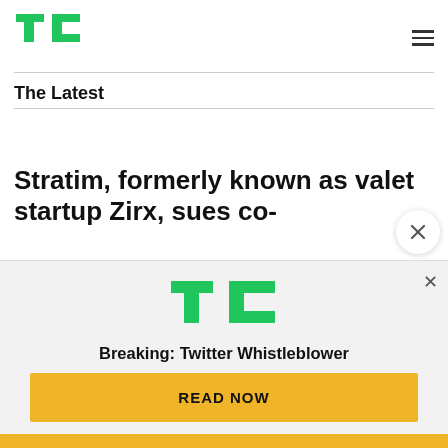TechCrunch (TC logo) with hamburger menu
The Latest
Stratim, formerly known as valet startup Zirx, sues co-
[Figure (screenshot): TechCrunch advertisement overlay with TC logo, 'Breaking: Twitter Whistleblower' text, and a yellow 'READ NOW' button, with an X close button]
Breaking: Twitter Whistleblower